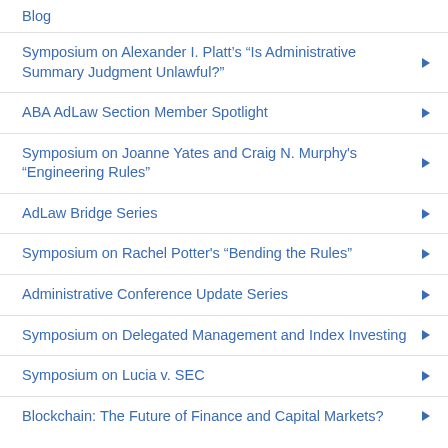Blog
Symposium on Alexander I. Platt’s “Is Administrative Summary Judgment Unlawful?”
ABA AdLaw Section Member Spotlight
Symposium on Joanne Yates and Craig N. Murphy's "Engineering Rules"
AdLaw Bridge Series
Symposium on Rachel Potter's "Bending the Rules"
Administrative Conference Update Series
Symposium on Delegated Management and Index Investing
Symposium on Lucia v. SEC
Blockchain: The Future of Finance and Capital Markets?